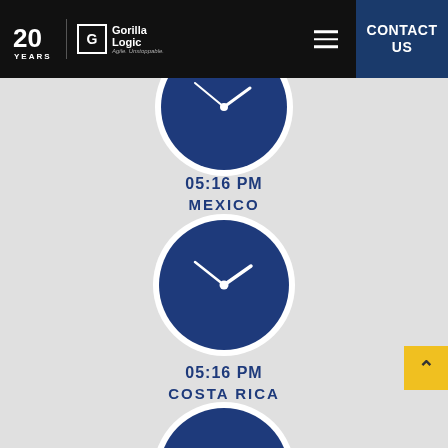[Figure (screenshot): Gorilla Logic website header with 20 Years logo, hamburger menu, and Contact Us button on dark background]
[Figure (infographic): Analog clock face showing 05:16 PM, navy blue circular clock with white hands, partially cropped at top]
05:16 PM
MEXICO
[Figure (infographic): Analog clock face showing 05:16 PM for Mexico timezone, navy blue circular clock with white hands]
05:16 PM
COSTA RICA
[Figure (infographic): Analog clock face showing time for Costa Rica timezone, navy blue circular clock with white hands, partially cropped at bottom]